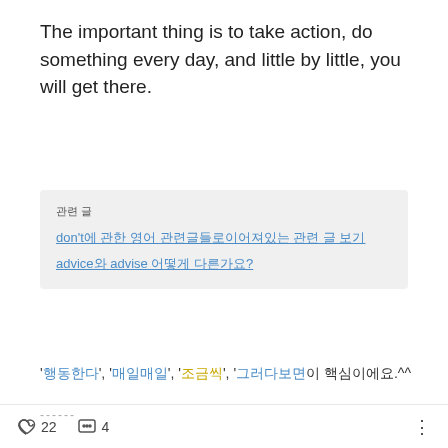The important thing is to take action, do something every day, and little by little, you will get there.
관련 글
don't에 관한 영어 관련글들로이어져있는 관련 글 보기
advice와 advise 어떻게 다른가요?
'행동한다', '매일매일', '조금씩', '그러다보면'이 핵심이에요.^^
------
22  4